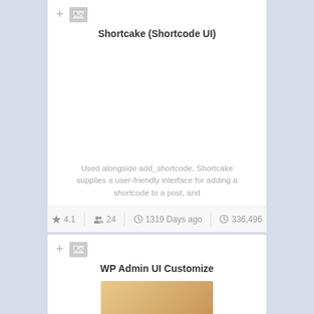[Figure (screenshot): Plugin icon placeholder (image icon)]
Shortcake (Shortcode UI)
Used alongside add_shortcode, Shortcake supplies a user-friendly interface for adding a shortcode to a post, and
★ 4.1   👥 24   🕐 1319 Days ago   🕐 336,496
[Figure (screenshot): Plugin icon placeholder (image icon)]
WP Admin UI Customize
[Figure (photo): Brownish/tan colored plugin preview image at bottom of card]